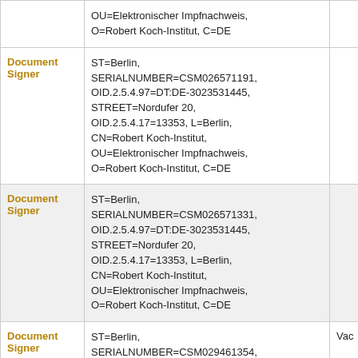| Role | Details | Extra |
| --- | --- | --- |
|  | OU=Elektronischer Impfnachweis,
O=Robert Koch-Institut, C=DE |  |
| Document Signer | ST=Berlin, SERIALNUMBER=CSM026571191, OID.2.5.4.97=DT:DE-3023531445, STREET=Nordufer 20, OID.2.5.4.17=13353, L=Berlin, CN=Robert Koch-Institut, OU=Elektronischer Impfnachweis, O=Robert Koch-Institut, C=DE |  |
| Document Signer | ST=Berlin, SERIALNUMBER=CSM026571331, OID.2.5.4.97=DT:DE-3023531445, STREET=Nordufer 20, OID.2.5.4.17=13353, L=Berlin, CN=Robert Koch-Institut, OU=Elektronischer Impfnachweis, O=Robert Koch-Institut, C=DE |  |
| Document Signer | ST=Berlin, SERIALNUMBER=CSM029461354, OID.2.5.4.97=DT:DE-3023531445 | Vac... |